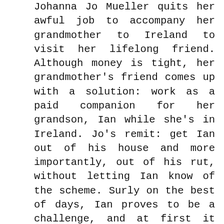Johanna Jo Mueller quits her awful job to accompany her grandmother to Ireland to visit her lifelong friend. Although money is tight, her grandmother's friend comes up with a solution: work as a paid companion for her grandson, Ian while she's in Ireland. Jo's remit: get Ian out of his house and more importantly, out of his rut, without letting Ian know of the scheme. Surly on the best of days, Ian proves to be a challenge, and at first it seems like mission impossible. But somewhere along the way, Jo gradually begins to fall in love with Ian. Ian A freak accident resulting in a serious injury has curtailed Ian Twomey's professional rugby career. He's bitter and struggling to adjust. And he's definitely not interested in showing the Irish sights to his grandmother's American guest, Johanna. But it's hard to say no to his grandmother and it's even harder to resist Jo